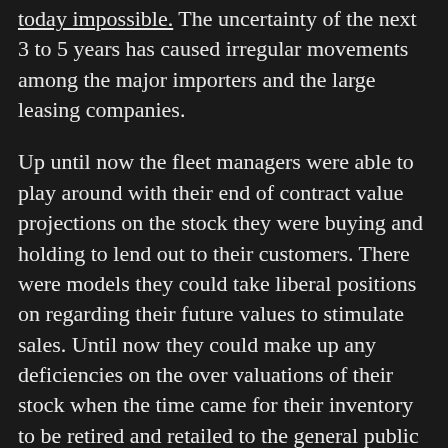today impossible. The uncertainty of the next 3 to 5 years has caused irregular movements among the major importers and the large leasing companies.
Up until now the fleet managers were able to play around with their end of contract value projections on the stock they were buying and holding to lend out to their customers. There were models they could take liberal positions on regarding their future values to stimulate sales. Until now they could make up any deficiencies on the over valuations of their stock when the time came for their inventory to be retired and retailed to the general public in 3 or 5 years' time – can't do that anymore. They can now forecast to do some predictions